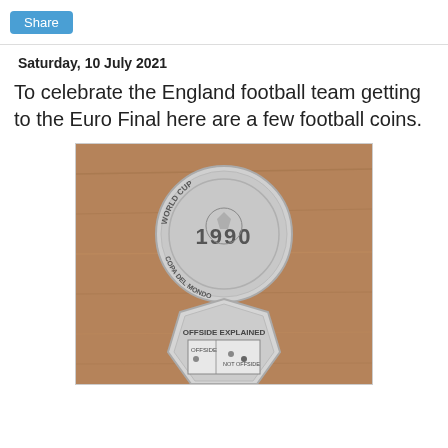Share
Saturday, 10 July 2021
To celebrate the England football team getting to the Euro Final here are a few football coins.
[Figure (photo): Two football commemorative coins on a wooden surface. The top coin is a 1990 FIFA World Cup coin (Copa Del Mundo) showing the year 1990 with a football design. The bottom coin is a 50p piece showing the offside rule explained, with 'OFFSIDE EXPLAINED' text and a diagram showing OFFSIDE and NOT OFFSIDE positions.]